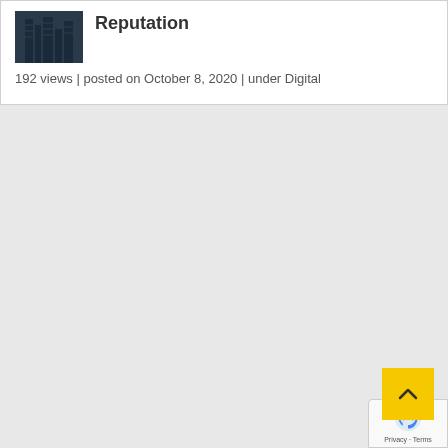[Figure (photo): Thumbnail image of a tall building or skyscraper, dark toned]
Reputation
192 views | posted on October 8, 2020 | under Digital
[Figure (other): Yellow back-to-top button with upward chevron arrow]
[Figure (other): Google reCAPTCHA badge with Privacy and Terms links]